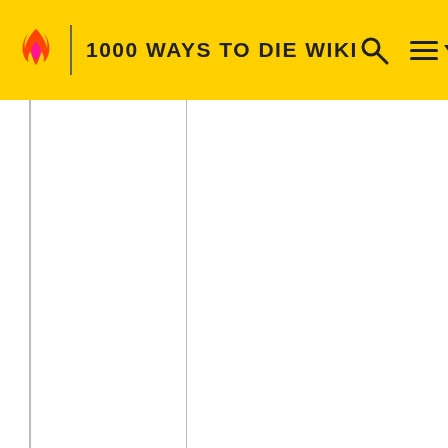1000 WAYS TO DIE WIKI
Dich... boy... com... dum... bitte... take... dum... hers... trips... disc... and... mou... toxic... the b... her b... killin... com...